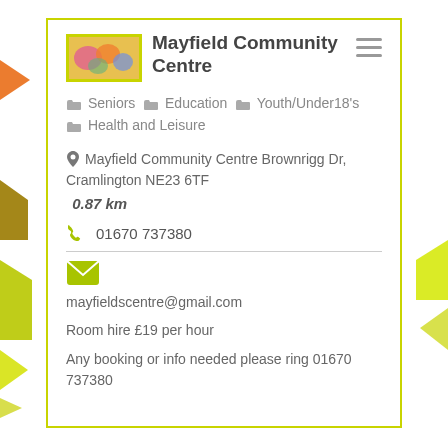Mayfield Community Centre
Seniors  Education  Youth/Under18's  Health and Leisure
Mayfield Community Centre Brownrigg Dr, Cramlington NE23 6TF
0.87 km
01670 737380
mayfieldscentre@gmail.com
Room hire £19 per hour
Any booking or info needed please ring 01670 737380